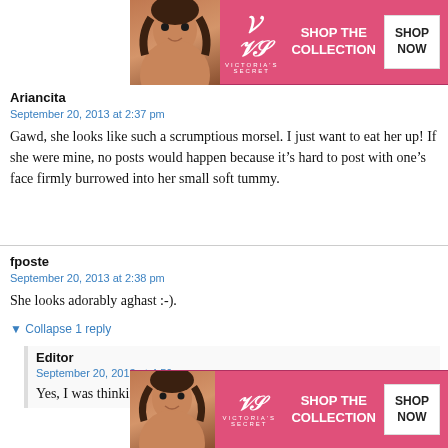[Figure (screenshot): Victoria's Secret advertisement banner at the top showing a woman's photo, VS logo, 'SHOP THE COLLECTION' text, and 'SHOP NOW' button on pink background]
Ariancita
September 20, 2013 at 2:37 pm
Gawd, she looks like such a scrumptious morsel. I just want to eat her up! If she were mine, no posts would happen because it’s hard to post with one’s face firmly burrowed into her small soft tummy.
fposte
September 20, 2013 at 2:38 pm
She looks adorably aghast :-).
▼ Collapse 1 reply
Editor
September 20, 2013 at 4:59 pm
Yes, I was thinking Resting Incredulous Face. Ju…derful.
[Figure (screenshot): Victoria's Secret advertisement banner at the bottom with a 'CLOSE' button overlay, showing same ad with woman's photo, VS logo, 'SHOP THE COLLECTION' and 'SHOP NOW' on pink background]